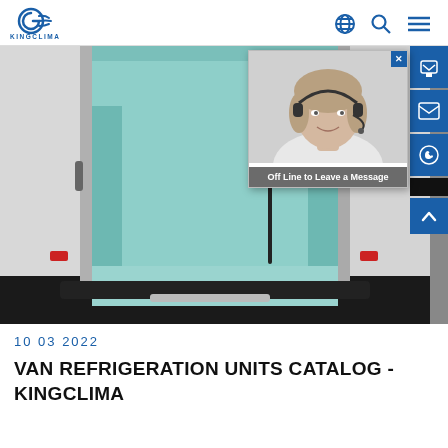KINGCLIMA
[Figure (photo): Back doors of a white refrigerated van open, showing a teal/light green insulated cargo interior with shelving. A chat popup overlay appears in the upper right showing a smiling woman with a headset and text 'Off Line to Leave a Message'.]
10 03 2022
VAN REFRIGERATION UNITS CATALOG - KINGCLIMA